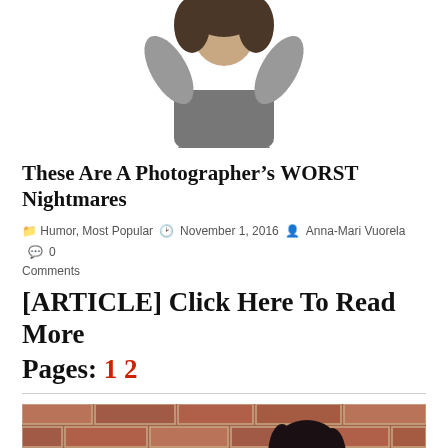[Figure (photo): Top portion of a photo showing a person with arms raised, cropped at torso level, white background]
These Are A Photographer's WORST Nightmares
Humor, Most Popular  November 1, 2016  Anna-Mari Vuorela  0 Comments
[ARTICLE] Click Here To Read More
Pages: 1 2
[Figure (photo): A woman with dark hair looking down, standing against a brick wall background, wearing a white top]